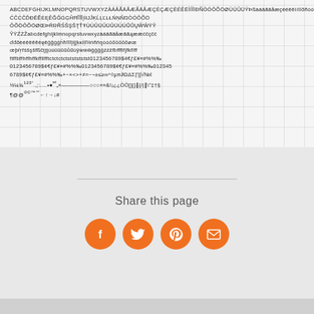[Figure (other): Font glyph specimen panel showing complete character set including uppercase, lowercase, accented characters, ligatures, digits, currency symbols, punctuation, and special symbols arranged in rows on a light gray background with a faint grid/cross watermark pattern.]
Share this page
[Figure (infographic): Four orange circular social sharing buttons: Facebook (f), Twitter (bird), Pinterest (P), Email (envelope)]